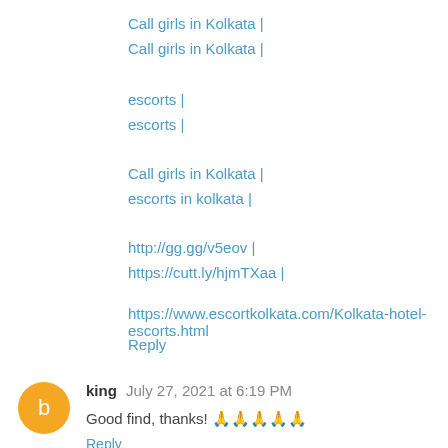Call girls in Kolkata |
Call girls in Kolkata |
escorts |
escorts |
Call girls in Kolkata |
escorts in kolkata |
http://gg.gg/v5eov |
https://cutt.ly/hjmTXaa |
https://www.escortkolkata.com/Kolkata-hotel-escorts.html
Reply
king  July 27, 2021 at 6:19 PM
Good find, thanks! 🙏🙏🙏🙏🙏
Reply